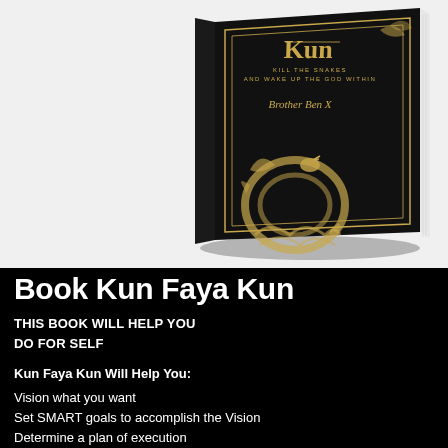[Figure (photo): Book cover of 'Kun Faya Kun' with subtitle 'Kill the Snakes and Wake Up the God Within' by Brother Ben X. Black hardcover with gold decorative snake and floral artwork, displayed at an angle on a white background.]
Book Kun Faya Kun
THIS BOOK WILL HELP YOU DO FOR SELF
Kun Faya Kun Will Help You:
Vision what you want
Set SMART goals to accomplish the Vision
Determine a plan of execution
Develop the mindset to BE what it is you want to